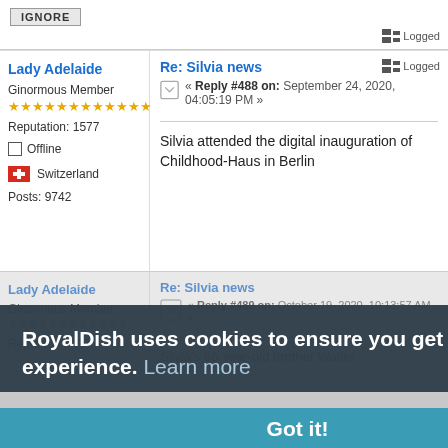[Figure (screenshot): Forum post interface showing IGNORE button at top]
Logged
Lady Adelaide
Ginormous Member
Reputation: 1577
Offline
Switzerland
Posts: 9742
Re: Silvia news
« Reply #488 on: September 24, 2020, 04:05:19 PM »
Silvia attended the digital inauguration of Childhood-Haus in Berlin
Logged
RoyalDish uses cookies to ensure you get the best experience. Learn more
Got it!
Lady Adelaide
Ginormous Member
Reputation: 1577
Re: Silvia news
« Reply #489 on: October 19, 2020, 10:13:57 AM »
Silvia's 86-year-old brother Walter